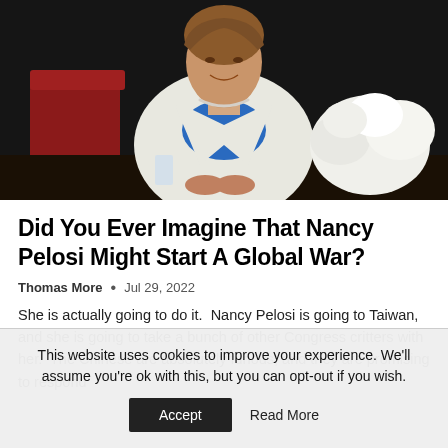[Figure (photo): A woman in a white blazer over a blue top seated in a chair, with a dark background, red chair visible on the left, and white floral arrangement on the right. The photo appears to be of Nancy Pelosi at an event.]
Did You Ever Imagine That Nancy Pelosi Might Start A Global War?
Thomas More • Jul 29, 2022
She is actually going to do it. Nancy Pelosi is going to Taiwan, and she is going to take a bunch of other Congress critters with her. The Chinese are absolutely furious, and they are promising to respond...
This website uses cookies to improve your experience. We'll assume you're ok with this, but you can opt-out if you wish. Accept Read More